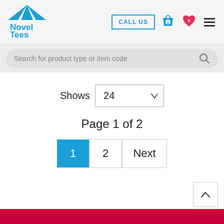[Figure (logo): Novel Tees logo with blue circus tent and blue text]
CALL US
[Figure (other): Shopping bag icon with 0, heart icon with 0, hamburger menu icon]
Search for product type or item code
Shows 24
Page 1 of 2
1  2  Next